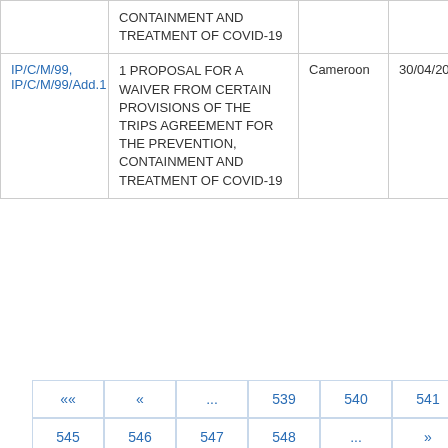|  | Title | Country | Date |
| --- | --- | --- | --- |
|  | CONTAINMENT AND TREATMENT OF COVID-19 |  |  |
| IP/C/M/99, IP/C/M/99/Add.1 | 1 PROPOSAL FOR A WAIVER FROM CERTAIN PROVISIONS OF THE TRIPS AGREEMENT FOR THE PREVENTION, CONTAINMENT AND TREATMENT OF COVID-19 | Cameroon | 30/04/202... |
«« « ... 539 540 541 542 543 544 545 546 547 548 ... » »»